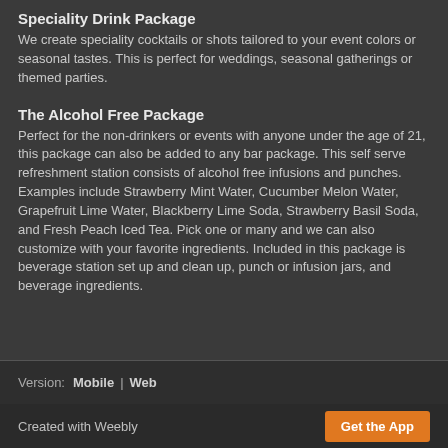Speciality Drink Package
We create speciality cocktails or shots tailored to your event colors or seasonal tastes. This is perfect for weddings, seasonal gatherings or themed parties.
The Alcohol Free Package
Perfect for the non-drinkers or events with anyone under the age of 21, this package can also be added to any bar package. This self serve refreshment station consists of alcohol free infusions and punches. Examples include Strawberry Mint Water, Cucumber Melon Water, Grapefruit Lime Water, Blackberry Lime Soda, Strawberry Basil Soda, and Fresh Peach Iced Tea. Pick one or many and we can also customize with your favorite ingredients. Included in this package is beverage station set up and clean up, punch or infusion jars, and beverage ingredients.
Version: Mobile | Web
Created with Weebly  Get the App